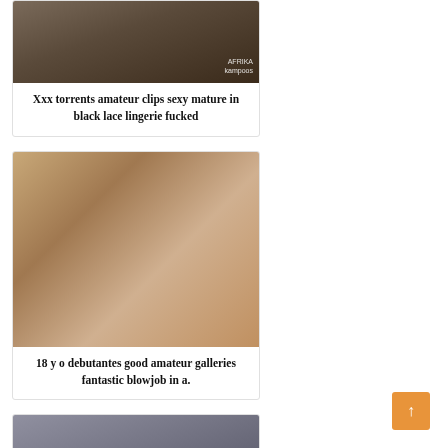[Figure (photo): Photo of a woman in black lingerie with AFRIKA kampoos watermark]
Xxx torrents amateur clips sexy mature in black lace lingerie fucked
[Figure (photo): Photo of two women in an intimate scene]
18 y o debutantes good amateur galleries fantastic blowjob in a.
[Figure (photo): Photo of a woman with dark hair in a room]